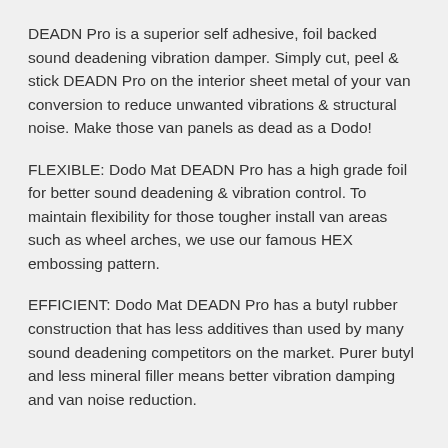DEADN Pro is a superior self adhesive, foil backed sound deadening vibration damper. Simply cut, peel & stick DEADN Pro on the interior sheet metal of your van conversion to reduce unwanted vibrations & structural noise. Make those van panels as dead as a Dodo!
FLEXIBLE: Dodo Mat DEADN Pro has a high grade foil for better sound deadening & vibration control. To maintain flexibility for those tougher install van areas such as wheel arches, we use our famous HEX embossing pattern.
EFFICIENT: Dodo Mat DEADN Pro has a butyl rubber construction that has less additives than used by many sound deadening competitors on the market. Purer butyl and less mineral filler means better vibration damping and van noise reduction.